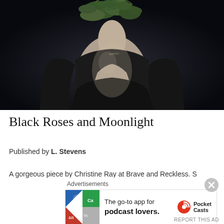[Figure (photo): Dark artistic photo of a person's back, wearing a black low-back top, with leafy/plant material covering their head, on a dark background.]
Black Roses and Moonlight
Published by L. Stevens
A gorgeous piece by Christine Ray at Brave and Reckless. She brings blac
Advertisements
[Figure (other): Pocket Casts advertisement banner: 'The go-to app for podcast lovers.' with Pocket Casts logo and colorful app icon tiles on left.]